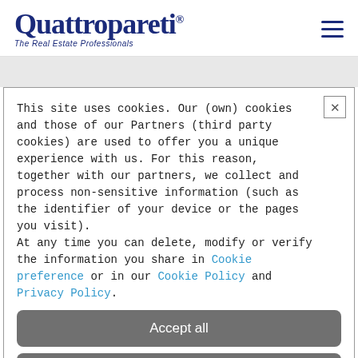[Figure (logo): Quattropareti.com logo with tagline 'The Real Estate Professionals' and hamburger menu icon]
This site uses cookies. Our (own) cookies and those of our Partners (third party cookies) are used to offer you a unique experience with us. For this reason, together with our partners, we collect and process non-sensitive information (such as the identifier of your device or the pages you visit). At any time you can delete, modify or verify the information you share in Cookie preference or in our Cookie Policy and Privacy Policy.
Accept all
Decline all
Customize